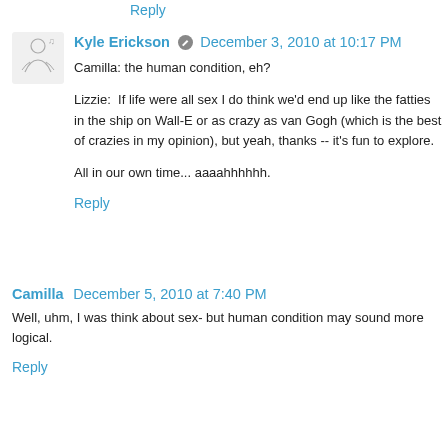Reply
Kyle Erickson  December 3, 2010 at 10:17 PM
Camilla: the human condition, eh?

Lizzie: If life were all sex I do think we'd end up like the fatties in the ship on Wall-E or as crazy as van Gogh (which is the best of crazies in my opinion), but yeah, thanks -- it's fun to explore.

All in our own time... aaaahhhhhh.
Reply
Camilla  December 5, 2010 at 7:40 PM
Well, uhm, I was think about sex- but human condition may sound more logical.
Reply